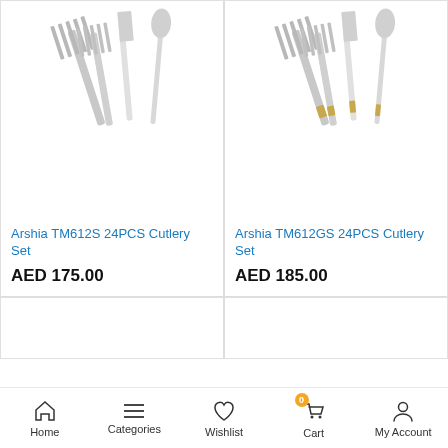[Figure (photo): Arshia TM612S silver cutlery set product photo showing forks and other utensils]
Arshia TM612S 24PCS Cutlery Set
AED 175.00
[Figure (photo): Arshia TM612GS gold-accented cutlery set product photo showing forks and other utensils]
Arshia TM612GS 24PCS Cutlery Set
AED 185.00
Home  Categories  Wishlist  Cart  My Account